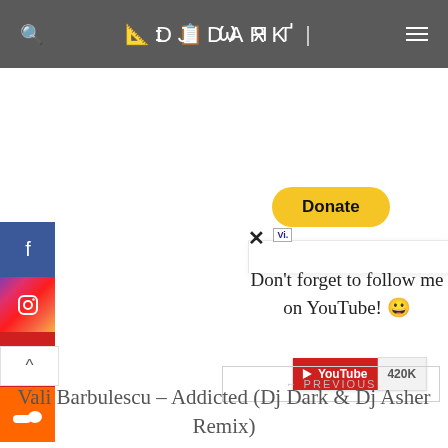DJ DARK
[Figure (screenshot): PayPal Donate button (yellow rounded)]
[Figure (screenshot): Close X button and Visa card popup card fragment]
Don't forget to follow me on YouTube! 😁
[Figure (screenshot): YouTube subscribe widget showing 420K subscribers]
[Figure (screenshot): ← PREVIOUS navigation button]
Vali Barbulescu – Addicted (Dj Dark & Dj Asher Remix)
[Figure (screenshot): Social media icons: Facebook, Instagram, YouTube, SoundCloud]
[Figure (screenshot): Up arrow scroll button]